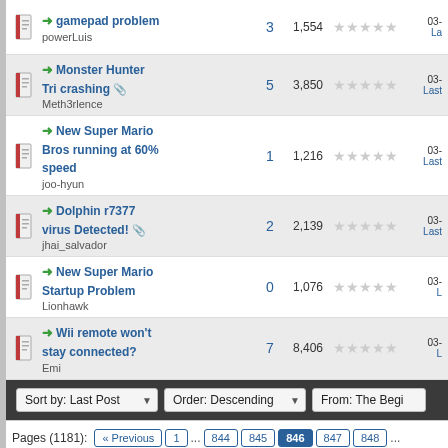gamepad problem - powerLuis - 3 replies, 1,554 views, 03-
Monster Hunter Tri crashing - Meth3rlence - 5 replies, 3,850 views, 03-
New Super Mario Bros running at 60% speed - joo-hyun - 1 reply, 1,216 views, 03-
Dolphin r7377 virus Detected! - jhai_salvador - 2 replies, 2,139 views, 03-
New Super Mario Startup Problem - Lionhawk - 0 replies, 1,076 views, 03-
Wii remote won't stay connected? - Emi - 7 replies, 8,406 views, 03-
Sort by: Last Post | Order: Descending | From: The Begi
Pages (1181): « Previous 1 ... 844 845 846 847 848 ...